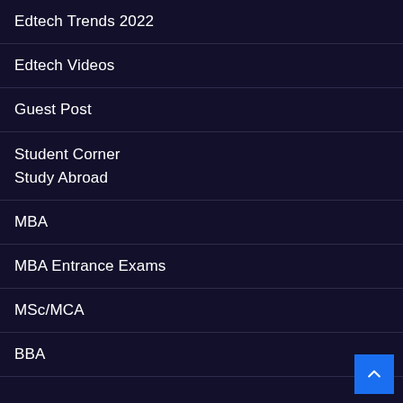Edtech Trends 2022
Edtech Videos
Guest Post
Student Corner
Study Abroad
MBA
MBA Entrance Exams
MSc/MCA
BBA